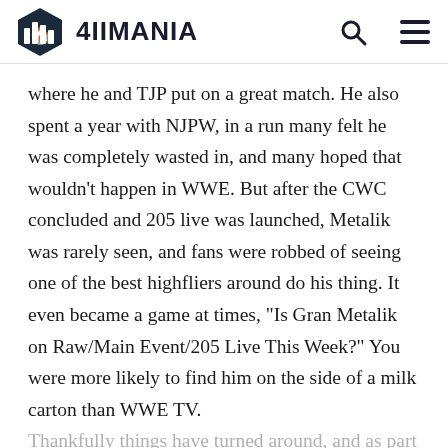411MANIA
where he and TJP put on a great match. He also spent a year with NJPW, in a run many felt he was completely wasted in, and many hoped that wouldn't happen in WWE. But after the CWC concluded and 205 live was launched, Metalik was rarely seen, and fans were robbed of seeing one of the best highfliers around do his thing. It even became a game at times, "Is Gran Metalik on Raw/Main Event/205 Live This Week?" You were more likely to find him on the side of a milk carton than WWE TV.
Thankfully things have turned around, and as part of Lucha House Party (along with Kalisto & Lince Dorado) Metalik has become a better-